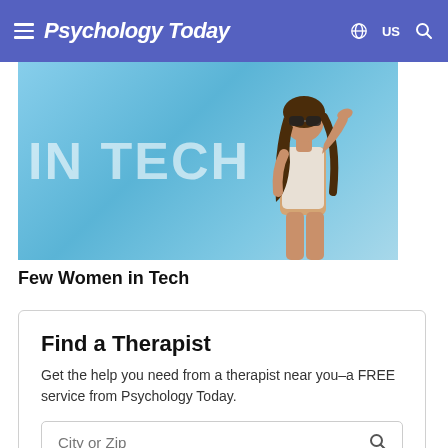Psychology Today  US
[Figure (photo): Woman with sunglasses shielding eyes from sun against blue sky background, with partially visible text overlay reading 'IN TECH']
Few Women in Tech
Find a Therapist
Get the help you need from a therapist near you–a FREE service from Psychology Today.
City or Zip